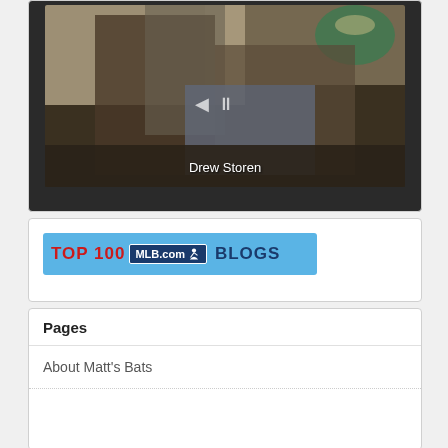[Figure (photo): A rotated/tilted photo showing people at an indoor event. Text overlay reads 'Drew Storen' at the bottom center of the image with playback controls visible.]
[Figure (logo): Top 100 MLB.com Blogs banner on a light blue background. Shows 'TOP 100' in red bold text, 'MLB.com' with MLB silhouette logo in a dark blue badge, and 'BLOGS' in dark blue bold text.]
Pages
About Matt's Bats